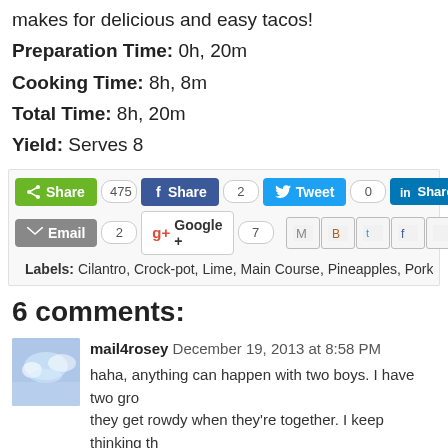makes for delicious and easy tacos!
Preparation Time: 0h, 20m
Cooking Time: 8h, 8m
Total Time: 8h, 20m
Yield: Serves 8
[Figure (screenshot): Social sharing buttons: Share (475), Facebook Share (2), Tweet (0), LinkedIn Share; Email (2), Google+ (7); social icon bar with Gmail, Blogger, Twitter, Facebook, Pinterest icons]
Labels: Cilantro, Crock-pot, Lime, Main Course, Pineapples, Pork, Slo...
6 comments:
[Figure (photo): Avatar photo of mail4rosey showing clouds/sky]
mail4rosey  December 19, 2013 at 8:58 PM
haha, anything can happen with two boys. I have two gro... they get rowdy when they're together. I keep thinking th... nuh uh. ;)
We've used our slowcooker quite a bit lately too, and I lo...